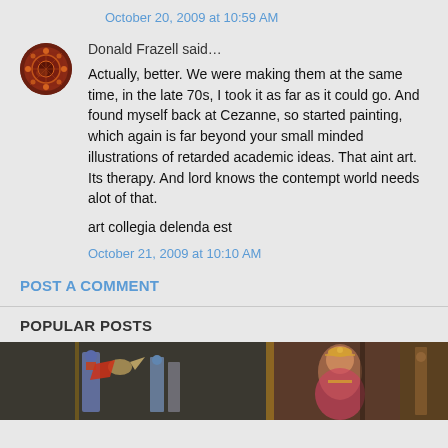October 20, 2009 at 10:59 AM
Donald Frazell said…
Actually, better. We were making them at the same time, in the late 70s, I took it as far as it could go. And found myself back at Cezanne, so started painting, which again is far beyond your small minded illustrations of retarded academic ideas. That aint art. Its therapy. And lord knows the contempt world needs alot of that.

art collegia delenda est
October 21, 2009 at 10:10 AM
POST A COMMENT
POPULAR POSTS
[Figure (photo): Two paintings visible: left shows a medieval/religious figure with armor and a bird, right shows an Indian woman in traditional dress with jewelry]